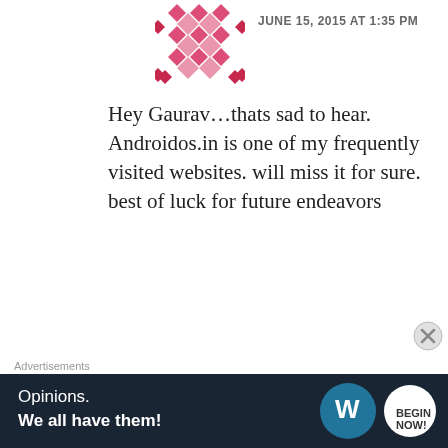[Figure (illustration): Pink/red geometric diamond lattice avatar icon for commenter]
JUNE 15, 2015 AT 1:35 PM
Hey Gaurav…thats sad to hear. Androidos.in is one of my frequently visited websites. will miss it for sure. best of luck for future endeavors
Like
REPLY
[Figure (illustration): Olive/gold geometric Aztec-pattern avatar icon for Vivek]
Vivek
JUNE 15, 2015 AT 1:45 PM
Advertisements
[Figure (other): WordPress ad banner: Opinions. We all have them! with WordPress and Beep! logos on dark background]